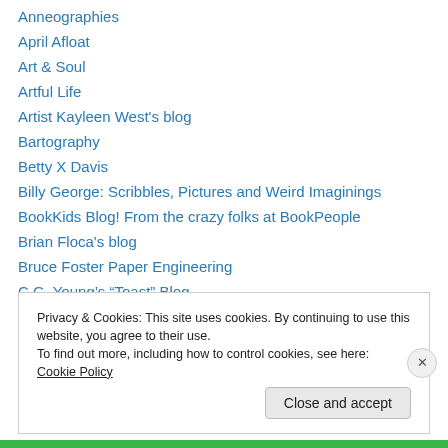Anneographies
April Afloat
Art & Soul
Artful Life
Artist Kayleen West's blog
Bartography
Betty X Davis
Billy George: Scribbles, Pictures and Weird Imaginings
BookKids Blog! From the crazy folks at BookPeople
Brian Floca's blog
Bruce Foster Paper Engineering
C.G. Young’s “Toast” Blog
Carmen Oliver Live Journal
Privacy & Cookies: This site uses cookies. By continuing to use this website, you agree to their use.
To find out more, including how to control cookies, see here: Cookie Policy
Close and accept